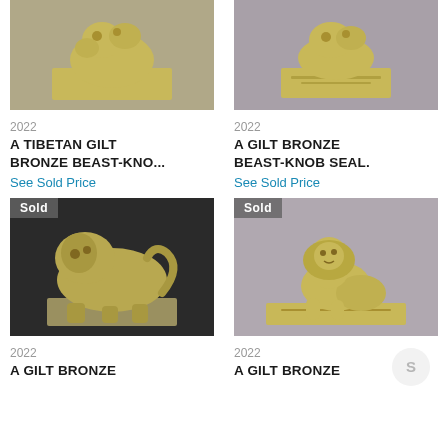[Figure (photo): Gilt bronze beast-knob seal sculpture on rectangular base, gold colored, gray background]
[Figure (photo): Gilt bronze beast-knob seal sculpture on rectangular base, gold colored, gray background]
2022
A TIBETAN GILT BRONZE BEAST-KNO...
See Sold Price
2022
A GILT BRONZE BEAST-KNOB SEAL.
See Sold Price
[Figure (photo): Sold - Gilt bronze beast figure sculpture on base, dark background]
[Figure (photo): Sold - Gilt bronze seated beast/lion sculpture on rectangular base, gray background]
2022
A GILT BRONZE
2022
A GILT BRONZE